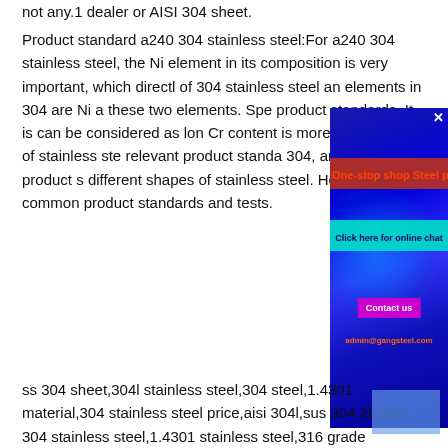not any.1 dealer or AISI 304 sheet.
Product standard a240 304 stainless steel:For a240 304 stainless steel, the Ni element in its composition is very important, which directly of 304 stainless steel and elements in 304 are Ni a these two elements. Spe product standards. It is can be considered as lon Cr content is more than this kind of stainless ste relevant product standa 304, and these product s different shapes of stainless steel. Here are some common product standards and tests.
[Figure (screenshot): Blue glowing background ad overlay with orange-red banner 'One-stop shop Steel plate', cyan banner 'Click here for online chat', magenta 'Contact us' button, and orange email 'admin@gangsteel.com']
ss 304 sheet,304l stainless steel,304 steel,1.4301 material,304 stainless steel price,aisi 304l,sus 304 2b,aisi 304 stainless steel,1.4301 stainless steel,316 grade stainless